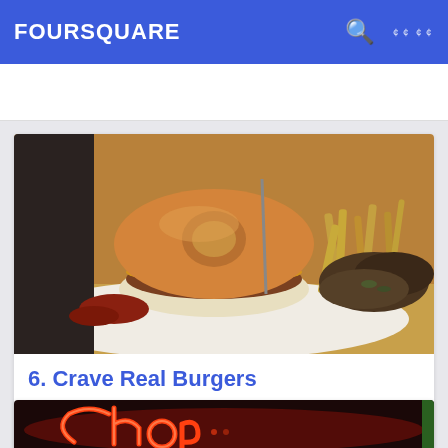FOURSQUARE
[Figure (photo): Photo of a burger with a glazed donut bun, topped with a toothpick, served on a white plate with seasoned fries and garnish]
6. Crave Real Burgers
9344 Dorchester St., Highlands Ranch, CO
미국 음식점 · 35명의 팁 및 리뷰
[Figure (photo): Partial photo of a neon sign showing cursive lettering on a dark background, appearing to show 'Chop...']